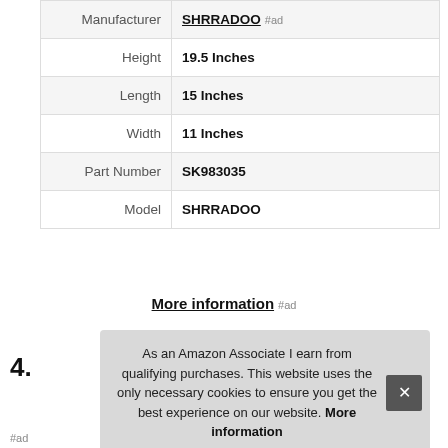| Attribute | Value |
| --- | --- |
| Manufacturer | SHRRADOO #ad |
| Height | 19.5 Inches |
| Length | 15 Inches |
| Width | 11 Inches |
| Part Number | SK983035 |
| Model | SHRRADOO |
More information #ad
4.
As an Amazon Associate I earn from qualifying purchases. This website uses the only necessary cookies to ensure you get the best experience on our website. More information
#ad